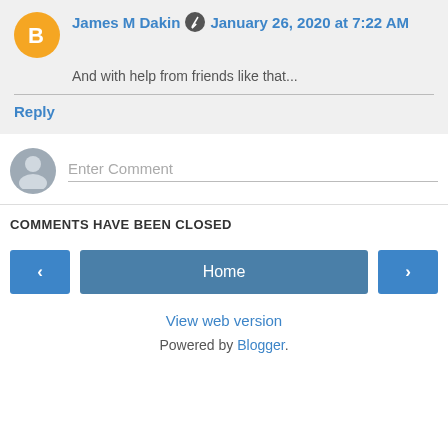James M Dakin · January 26, 2020 at 7:22 AM
And with help from friends like that...
Reply
Enter Comment
COMMENTS HAVE BEEN CLOSED
Home
View web version
Powered by Blogger.